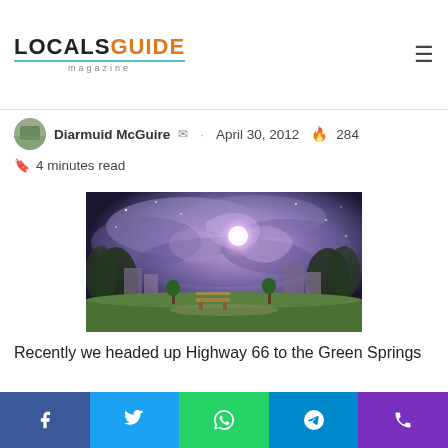LOCALSGUIDE magazine
Harriett's Universe and What She Makes of It
Diarmuid McGuire  ·  April 30, 2012  🔥 284
4 minutes read
[Figure (illustration): A painting depicting a dramatic swirling galaxy or cosmic storm sky with purple and blue hues, glowing orb in center, over a park scene with trees, buildings, and a bench.]
Recently we headed up Highway 66 to the Green Springs